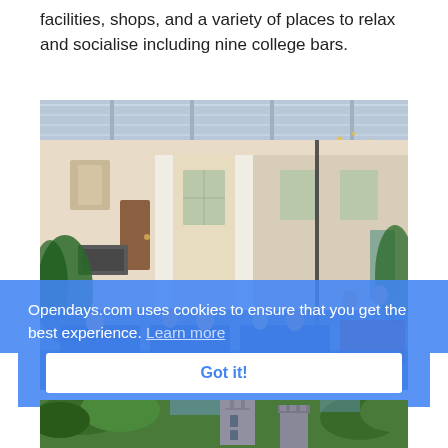facilities, shops, and a variety of places to relax and socialise including nine college bars.
[Figure (photo): Interior photo of a college common room or bar area with students socializing on blue sofas, a pool table visible at right, string lights overhead, and a classic stone building facade visible in the background through a glass atrium roof.]
Opendays.com uses cookies to ensure that you get the best experience. Learn more
Got it!
[Figure (photo): Outdoor photo of a castle or gothic tower building surrounded by green trees, partially visible at the bottom of the page.]